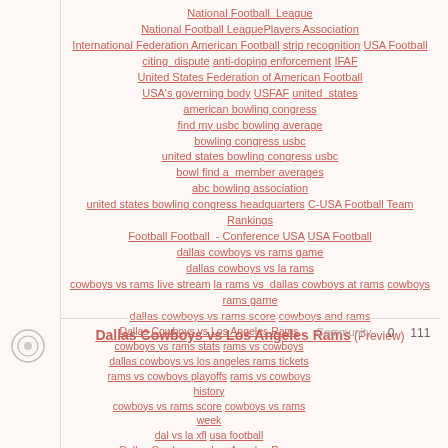National Football League National Football LeaguePlayers Association International Federation American Football strip recognition USA Football citing dispute anti-doping enforcement IFAF United States Federation of American Football USA's governing body USFAF united states american bowling congress find my usbc bowling average bowling congress usbc united states bowling congress usbc bowl find a member averages abc bowling association united states bowling congress headquarters C-USA Football Team Rankings Football Football - Conference USA USA Football dallas cowboys vs rams game dallas cowboys vs la rams cowboys vs rams live stream la rams vs dallas cowboys at rams cowboys rams game dallas cowboys vs rams score cowboys and rams Dallas Cowboys vs Los Angeles Rams (Preview)
Dallas Cowboys vs Los Angeles Rams cowboys vs rams stats rams vs cowboys dallas cowboys vs los angeles rams tickets rams vs cowboys playoffs rams vs cowboys history cowboys vs rams score cowboys vs rams week dal vs la xfl usa football Dallas Cowboys vs Los Angeles Rams dallas cowboys vs rams game cowboys vs rams live stream dallas cowboys vs la rams la rams vs dallas cowboys at rams rams vs cowboys tickets dallas cowboys vs rams score cowboys rams game USA Football How to Watch NFL Games Stream the NFL Live with or without Cable TV